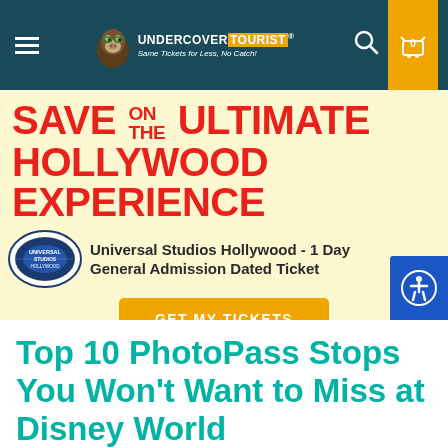Undercover Tourist - Same Tickets for Less, No Catch!
[Figure (infographic): Advertisement banner for Universal Studios Hollywood 1 Day General Admission Dated Ticket on a cream/yellow background with red bold text reading SAVE ON THE ULTIMATE HOLLYWOOD EXPERIENCE, Universal Studios Hollywood logo, orange GET MY TICKETS button, and fine print 'See ticket for more details.']
Top 10 PhotoPass Stops You Won't Want to Miss at Disney World